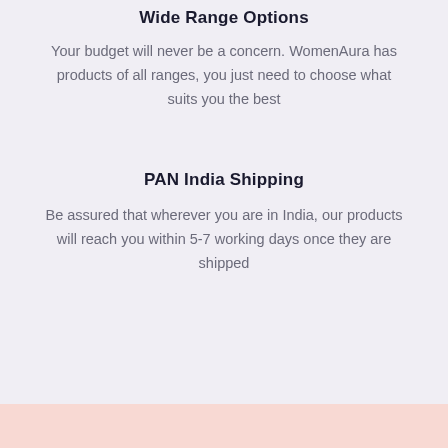Wide Range Options
Your budget will never be a concern. WomenAura has products of all ranges, you just need to choose what suits you the best
PAN India Shipping
Be assured that wherever you are in India, our products will reach you within 5-7 working days once they are shipped